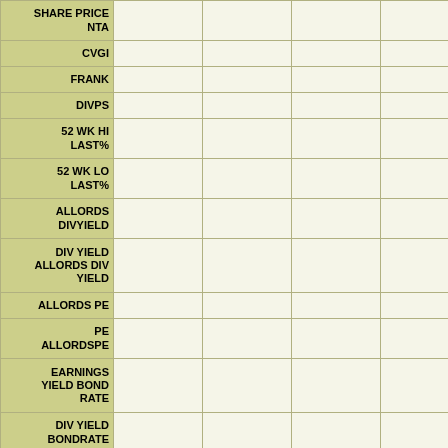| Row Label | Col1 | Col2 | Col3 | Col4 | Col5 |
| --- | --- | --- | --- | --- | --- |
| SHARE PRICE NTA |  |  |  |  |  |
| CVGI |  |  |  |  |  |
| FRANK |  |  |  |  |  |
| DIVPS |  |  |  |  |  |
| 52 WK HI LAST% |  |  |  |  |  |
| 52 WK LO LAST% |  |  |  |  |  |
| ALLORDS DIVYIELD |  |  |  |  |  |
| DIV YIELD ALLORDS DIV YIELD |  |  |  |  |  |
| ALLORDS PE |  |  |  |  |  |
| PE ALLORDSPE |  |  |  |  |  |
| EARNINGS YIELD BOND RATE |  |  |  |  |  |
| DIV YIELD BONDRATE |  |  |  |  |  |
| 10 YEAR BOND YIELD |  |  |  |  |  |
| AUD |  |  |  |  |  |
| ISSUED SHARES | 125,830,000 | 125,830,000 | 125,830,000 | 125,830,000 | 12... |